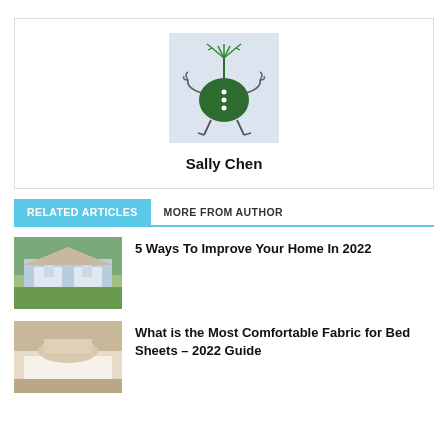[Figure (illustration): Cartoon illustration of a green monster/plant character with curly green antennae, dark green oval body with buttons, and spindly arms and legs, on a light blue-grey background]
Sally Chen
RELATED ARTICLES
MORE FROM AUTHOR
[Figure (photo): Photo of a suburban house with blue siding, white trim, two-car garage, green lawn]
5 Ways To Improve Your Home In 2022
[Figure (photo): Photo of a cozy bedroom with light bedding and soft pillows]
What is the Most Comfortable Fabric for Bed Sheets – 2022 Guide